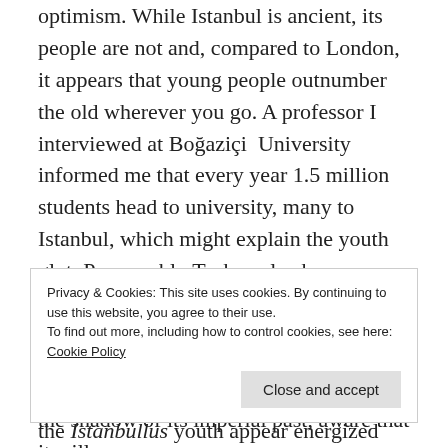optimism. While Istanbul is ancient, its people are not and, compared to London, it appears that young people outnumber the old wherever you go. A professor I interviewed at Boğaziçi University informed me that every year 1.5 million students head to university, many to Istanbul, which might explain the youth glut. Presumably Turkey also has experienced something of a demographic boom yet, unlike the Arab world where youths languish in underemployment on street corners and outside family shops, the Istanbullus youth appear energized and are doing things. The rapidly expanding economy has clearly come at the right time for this
Privacy & Cookies: This site uses cookies. By continuing to use this website, you agree to their use.
To find out more, including how to control cookies, see here: Cookie Policy
the shadow of its imperial past, aware that it will never